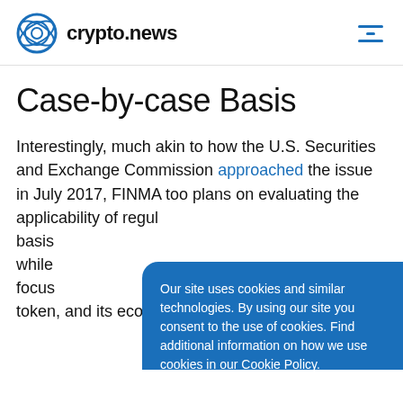crypto.news
Case-by-case Basis
Interestingly, much akin to how the U.S. Securities and Exchange Commission approached the issue in July 2017, FINMA too plans on evaluating the applicability of regul... basis... while... focus... token, and its economic function.
Our site uses cookies and similar technologies. By using our site you consent to the use of cookies. Find additional information on how we use cookies in our Cookie Policy.
I accept cookies